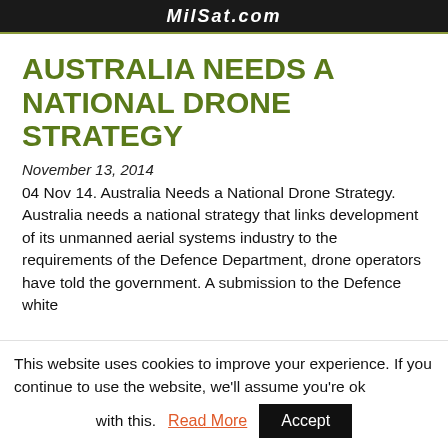MilSat.com
AUSTRALIA NEEDS A NATIONAL DRONE STRATEGY
November 13, 2014
04 Nov 14. Australia Needs a National Drone Strategy. Australia needs a national strategy that links development of its unmanned aerial systems industry to the requirements of the Defence Department, drone operators have told the government. A submission to the Defence white
This website uses cookies to improve your experience. If you continue to use the website, we'll assume you're ok with this. Read More Accept